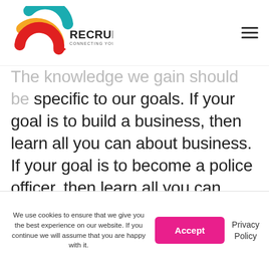[Figure (logo): 2C Recruitment logo with teal and orange/red circular arrow shapes and text 'RECRUITMENT CONNECTING YOU WITH TALENT']
The knowledge we gain should be specific to our goals. If your goal is to build a business, then learn all you can about business. If your goal is to become a police officer, then learn all you can about the role. Developing your knowledge or acquiring a new skill is therefore a fantastic way to ensure you focus on the factors you can control rather than getting distracted by
We use cookies to ensure that we give you the best experience on our website. If you continue we will assume that you are happy with it.
Accept
Privacy Policy